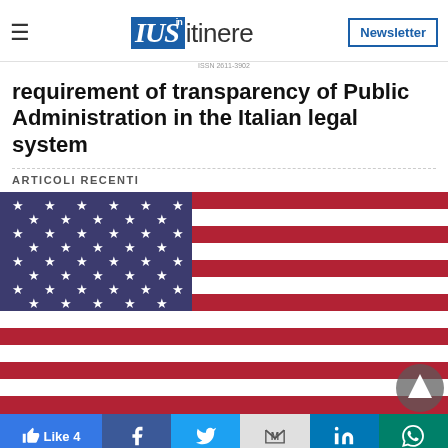IUS in itinere — Newsletter
requirement of transparency of Public Administration in the Italian legal system
ARTICOLI RECENTI
[Figure (photo): Close-up photo of a waving United States flag showing stars and stripes with a scroll-to-top button overlay in the bottom right corner]
Like 4 | Facebook | Twitter | Gmail | LinkedIn | WhatsApp